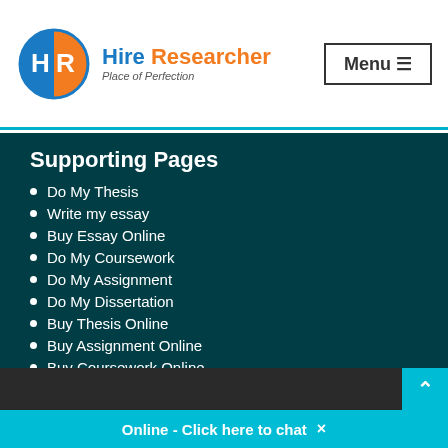[Figure (logo): Hire Researcher logo with circular HR emblem in blue and orange, tagline 'Place of Perfection']
Supporting Pages
Do My Thesis
Write my essay
Buy Essay Online
Do My Coursework
Do My Assignment
Do My Dissertation
Buy Thesis Online
Buy Assignment Online
Buy Coursework Online
Buy Coursework Online
All Rights Reserved. © 2022 Hire Researcher